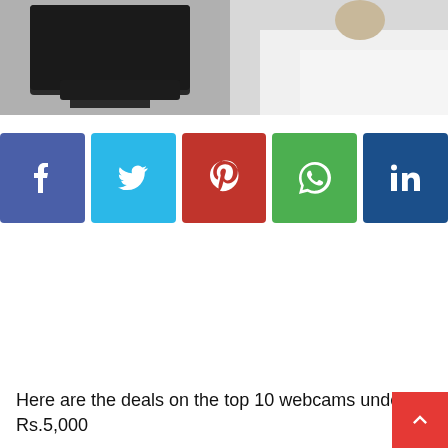[Figure (photo): Grayscale photo showing a monitor/screen and a person in white shirt in the background]
[Figure (infographic): Row of 5 social media share buttons: Facebook (blue-purple), Twitter (light blue), Pinterest (red), WhatsApp (green), LinkedIn (dark blue)]
Here are the deals on the top 10 webcams under Rs.5,000